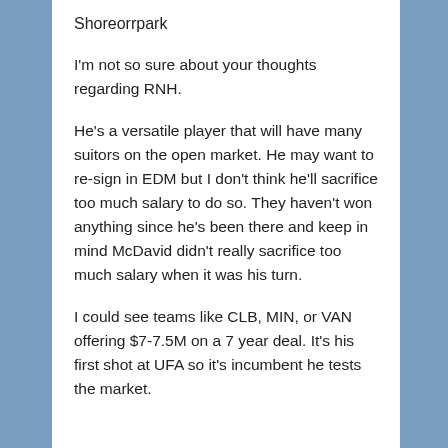Shoreorrpark
I'm not so sure about your thoughts regarding RNH.
He's a versatile player that will have many suitors on the open market. He may want to re-sign in EDM but I don't think he'll sacrifice too much salary to do so. They haven't won anything since he's been there and keep in mind McDavid didn't really sacrifice too much salary when it was his turn.
I could see teams like CLB, MIN, or VAN offering $7-7.5M on a 7 year deal. It's his first shot at UFA so it's incumbent he tests the market.